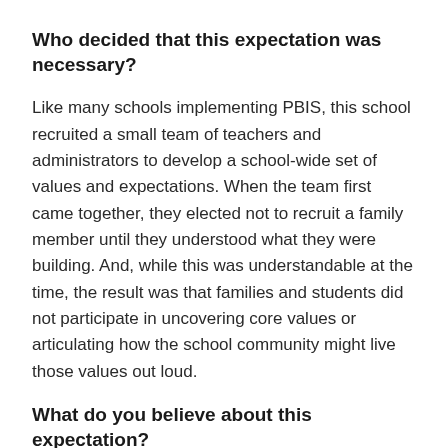Who decided that this expectation was necessary?
Like many schools implementing PBIS, this school recruited a small team of teachers and administrators to develop a school-wide set of values and expectations. When the team first came together, they elected not to recruit a family member until they understood what they were building. And, while this was understandable at the time, the result was that families and students did not participate in uncovering core values or articulating how the school community might live those values out loud.
What do you believe about this expectation?